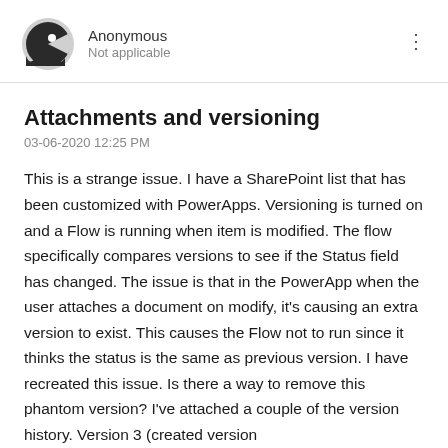Anonymous
Not applicable
Attachments and versioning
03-06-2020 12:25 PM
This is a strange issue. I have a SharePoint list that has been customized with PowerApps. Versioning is turned on and a Flow is running when item is modified. The flow specifically compares versions to see if the Status field has changed. The issue is that in the PowerApp when the user attaches a document on modify, it's causing an extra version to exist. This causes the Flow not to run since it thinks the status is the same as previous version. I have recreated this issue. Is there a way to remove this phantom version? I've attached a couple of the version history. Version 3 (created version